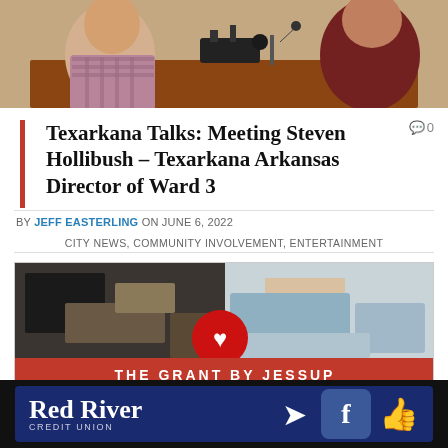[Figure (photo): Two people sitting at a table with recording/broadcasting equipment]
Texarkana Talks: Meeting Steven Hollibush – Texarkana Arkansas Director of Ward 3
0
BY JEFF EASTERLING ON JUNE 6, 2022
CITY NEWS, COMMUNITY INVOLVEMENT, ENTERTAINMENT
[Figure (photo): Advertisement: The Grant by Jessup – NEW 16X80 | 3BR/2BA]
[Figure (photo): Red River Credit Union advertisement banner with Facebook like button]